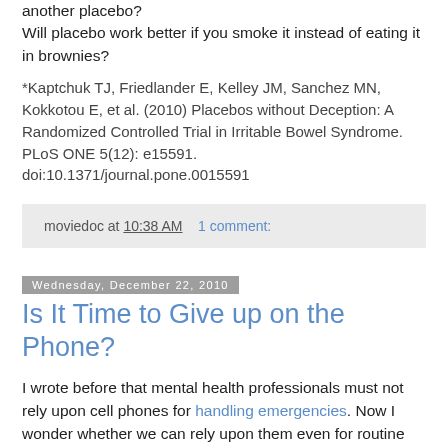another placebo?
Will placebo work better if you smoke it instead of eating it in brownies?
*Kaptchuk TJ, Friedlander E, Kelley JM, Sanchez MN, Kokkotou E, et al. (2010) Placebos without Deception: A Randomized Controlled Trial in Irritable Bowel Syndrome. PLoS ONE 5(12): e15591. doi:10.1371/journal.pone.0015591
moviedoc at 10:38 AM   1 comment:
Wednesday, December 22, 2010
Is It Time to Give up on the Phone?
I wrote before that mental health professionals must not rely upon cell phones for handling emergencies. Now I wonder whether we can rely upon them even for routine communication with patients, and I have an idea that other